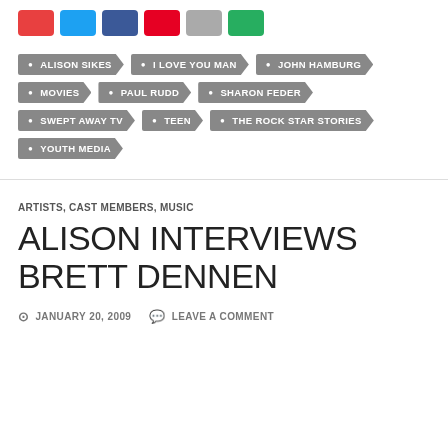[Figure (other): Row of social media sharing buttons: red, blue (Twitter), dark blue (Facebook), red (Pinterest), gray, green]
ALISON SIKES
I LOVE YOU MAN
JOHN HAMBURG
MOVIES
PAUL RUDD
SHARON FEDER
SWEPT AWAY TV
TEEN
THE ROCK STAR STORIES
YOUTH MEDIA
ARTISTS, CAST MEMBERS, MUSIC
ALISON INTERVIEWS BRETT DENNEN
JANUARY 20, 2009   LEAVE A COMMENT